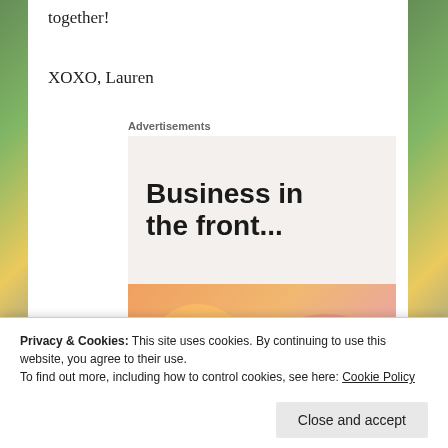together!
XOXO, Lauren
Advertisements
[Figure (illustration): Advertisement banner with two parts: top half shows 'Business in the front...' in bold sans-serif on a light gray background; bottom half shows 'WordPress in the back.' in bold serif on a colorful gradient background with peach, pink, and purple blob shapes.]
Privacy & Cookies: This site uses cookies. By continuing to use this website, you agree to their use.
To find out more, including how to control cookies, see here: Cookie Policy
Close and accept